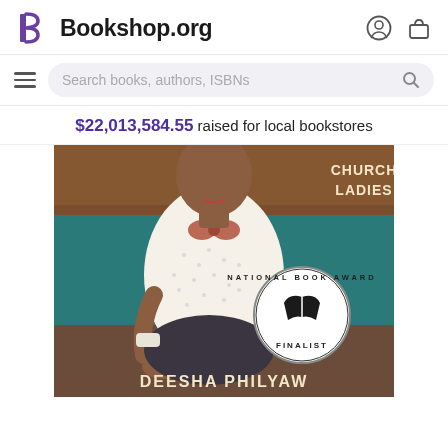Bookshop.org
Search books, authors, ISBNs
$22,013,584.55 raised for local bookstores
[Figure (photo): Book cover of 'Church Ladies' by Deesha Philyaw, showing a person sitting in a polka-dot shirt with a bow tie, with a National Book Award Finalist medallion. Text on cover: CHURCH LADIES, DEESHA PHILYAW.]